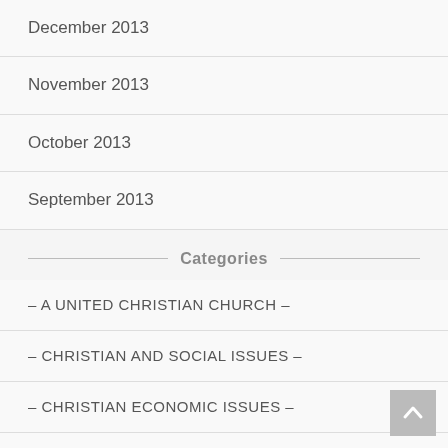December 2013
November 2013
October 2013
September 2013
Categories
– A UNITED CHRISTIAN CHURCH –
– CHRISTIAN AND SOCIAL ISSUES –
– CHRISTIAN ECONOMIC ISSUES –
– CONTROVERSIAL –